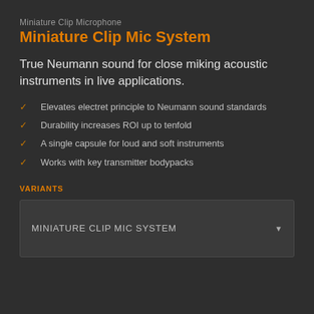Miniature Clip Microphone
Miniature Clip Mic System
True Neumann sound for close miking acoustic instruments in live applications.
Elevates electret principle to Neumann sound standards
Durability increases ROI up to tenfold
A single capsule for loud and soft instruments
Works with key transmitter bodypacks
VARIANTS
MINIATURE CLIP MIC SYSTEM